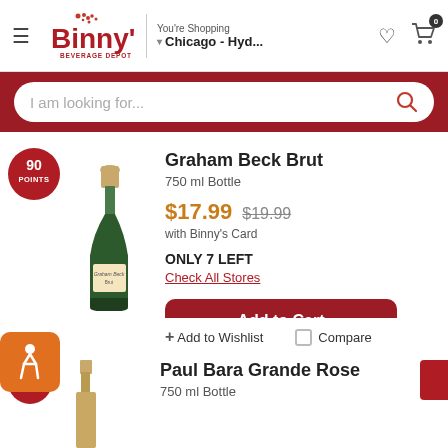Binny's Beverage Depot — You're Shopping Chicago - Hyd...
I am looking for...
Graham Beck Brut
750 ml Bottle
$17.99  $19.99 with Binny's Card
ONLY 7 LEFT
Check All Stores
Add to Cart
Add to Wishlist
Compare
Paul Bara Grande Rose
750 ml Bottle